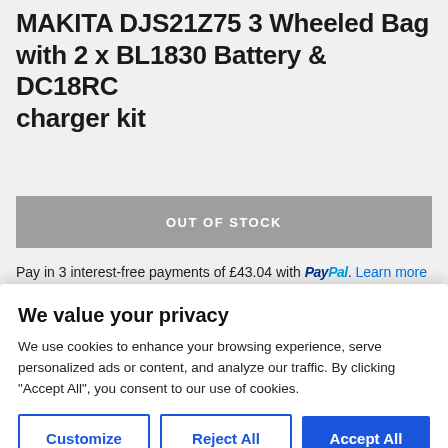MAKITA DJS21Z75 3 Wheeled Bag with 2 x BL1830 Battery & DC18RC charger kit
OUT OF STOCK
Pay in 3 interest-free payments of £43.04 with PayPal. Learn more
We value your privacy
We use cookies to enhance your browsing experience, serve personalized ads or content, and analyze our traffic. By clicking "Accept All", you consent to our use of cookies.
Customize | Reject All | Accept All